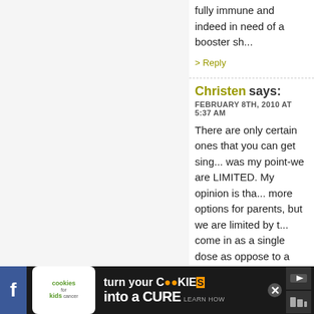fully immune and indeed in need of a booster sh...
> Reply
Christen says:
FEBRUARY 8TH, 2010 AT 5:37 AM
There are only certain ones that you can get sing... was my point-we are LIMITED. My opinion is tha... more options for parents, but we are limited by t... come in as a single dose as oppose to a combo.
> Reply
Erin says:
FEBRUARY 8TH, 2010 AT 4:08 PM
I have been trying to get the measles only vaccin... he is still immune to mumps and rubella from his... pediatrician had told me that they don't order th... since there is such a low demand they would lose... called Merck last week to find out where I could
[Figure (advertisement): Cookies for Kids Cancer ad banner: 'turn your COOKIES into a CURE LEARN HOW' on dark background with logo and social media icons]